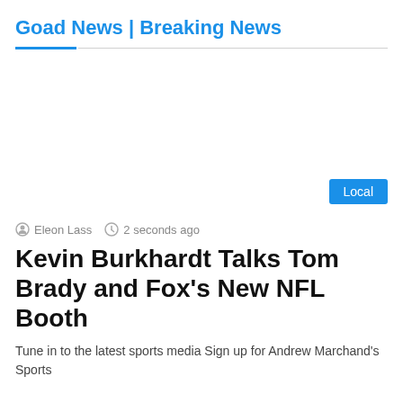Goad News | Breaking News
Eleon Lass  2 seconds ago
[Figure (other): Advertisement / blank area with a Local badge button in the bottom right corner]
Kevin Burkhardt Talks Tom Brady and Fox's New NFL Booth
Tune in to the latest sports media Sign up for Andrew Marchand's Sports